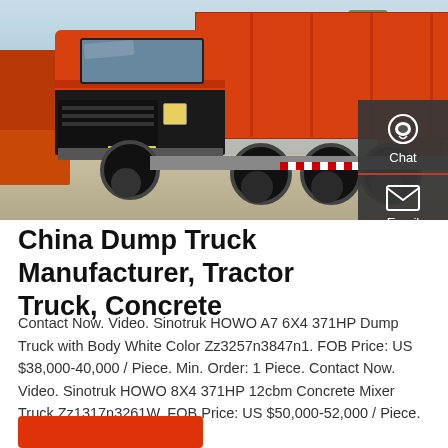[Figure (photo): Red/orange Sinotruk HOWO dump truck parked in a lot with other trucks visible in the background. The truck is a large 8x4 heavy dump truck with orange body and black cab details.]
China Dump Truck Manufacturer, Tractor Truck, Concrete
Contact Now. Video. Sinotruk HOWO A7 6X4 371HP Dump Truck with Body White Color Zz3257n3847n1. FOB Price: US $38,000-40,000 / Piece. Min. Order: 1 Piece. Contact Now. Video. Sinotruk HOWO 8X4 371HP 12cbm Concrete Mixer Truck Zz1317n3261W. FOB Price: US $50,000-52,000 / Piece.